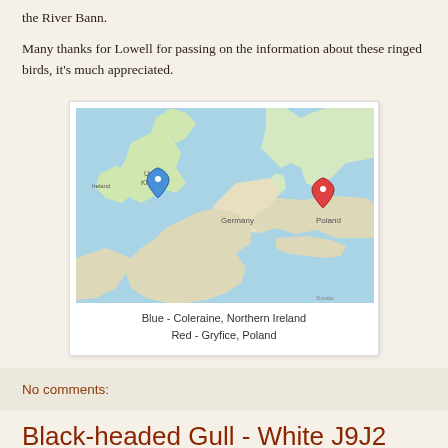the River Bann.
Many thanks for Lowell for passing on the information about these ringed birds, it's much appreciated.
[Figure (map): Google map showing two locations marked with pins: a blue pin at Coleraine, Northern Ireland (UK) and a red pin at Gryfice, Poland. The map shows Western and Central Europe including UK, Ireland, Netherlands, Belgium, Germany, Poland, and Czech Republic.]
Blue - Coleraine, Northern Ireland
Red - Gryfice, Poland
No comments:
Black-headed Gull - White J9J2